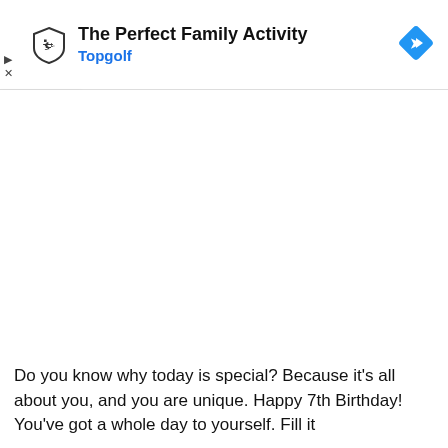[Figure (screenshot): Topgolf advertisement banner with logo, title 'The Perfect Family Activity', subtitle 'Topgolf', navigation icon, play and close controls]
Do you know why today is special? Because it’s all about you, and you are unique. Happy 7th Birthday! You’ve got a whole day to yourself. Fill it